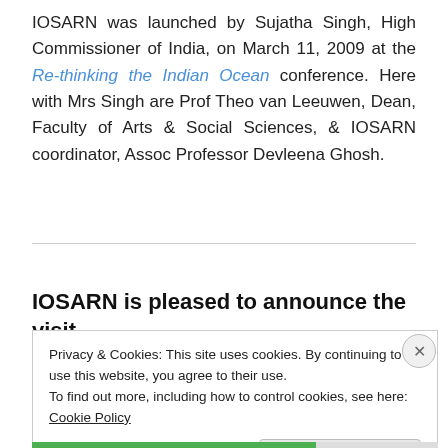IOSARN was launched by Sujatha Singh, High Commissioner of India, on March 11, 2009 at the Re-thinking the Indian Ocean conference. Here with Mrs Singh are Prof Theo van Leeuwen, Dean, Faculty of Arts & Social Sciences, & IOSARN coordinator, Assoc Professor Devleena Ghosh.
IOSARN is pleased to announce the visit
Privacy & Cookies: This site uses cookies. By continuing to use this website, you agree to their use.
To find out more, including how to control cookies, see here: Cookie Policy